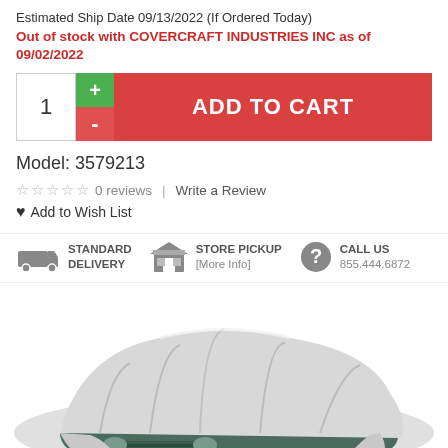Estimated Ship Date 09/13/2022 (If Ordered Today)
Out of stock with COVERCRAFT INDUSTRIES INC as of 09/02/2022
[Figure (screenshot): Add to cart button with quantity selector showing 1, green plus button, red minus button, and large red ADD TO CART button]
Model: 3579213
☆ ☆ ☆ ☆ ☆  0 reviews  |  Write a Review
♥ Add to Wish List
[Figure (infographic): Delivery options row: truck icon with STANDARD DELIVERY, store icon with STORE PICKUP [More Info], question mark icon with CALL US 855.444.6872]
[Figure (photo): Car covered with a grey/silver car cover, front of car visible showing grille and headlights]